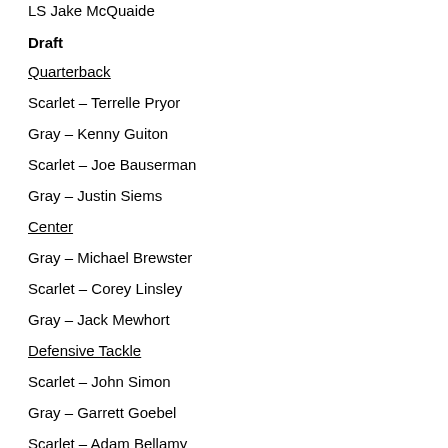LS Jake McQuaide
Draft
Quarterback
Scarlet – Terrelle Pryor
Gray – Kenny Guiton
Scarlet – Joe Bauserman
Gray – Justin Siems
Center
Gray – Michael Brewster
Scarlet – Corey Linsley
Gray – Jack Mewhort
Defensive Tackle
Scarlet – John Simon
Gray – Garrett Goebel
Scarlet – Adam Bellamy